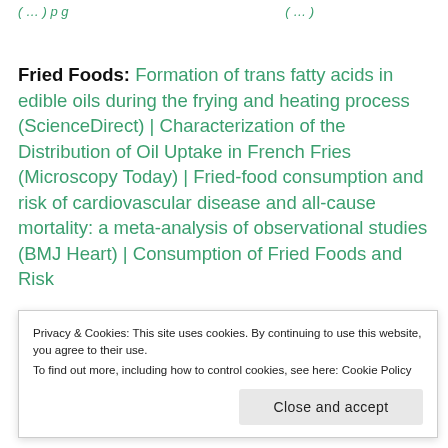( ... ) p g ( ... )
Fried Foods: Formation of trans fatty acids in edible oils during the frying and heating process (ScienceDirect) | Characterization of the Distribution of Oil Uptake in French Fries (Microscopy Today) | Fried-food consumption and risk of cardiovascular disease and all-cause mortality: a meta-analysis of observational studies (BMJ Heart) | Consumption of Fried Foods and Risk
Privacy & Cookies: This site uses cookies. By continuing to use this website, you agree to their use.
To find out more, including how to control cookies, see here: Cookie Policy
Close and accept
Prospective Investigation into Cancer and